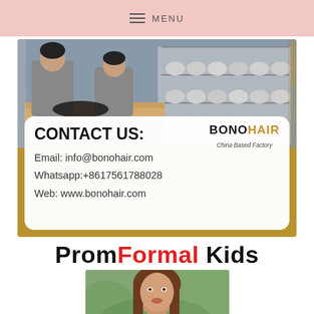MENU
[Figure (photo): Factory workers working at a table with hair pieces, gold/tan border frame with contact information overlay card showing BONOHAIR logo and contact details]
CONTACT US:
Email: info@bonohair.com
Whatsapp:+8617561788028
Web: www.bonohair.com
PromFormal Kids
[Figure (photo): Young girl with brown hair, partially visible, outdoor blurred background]